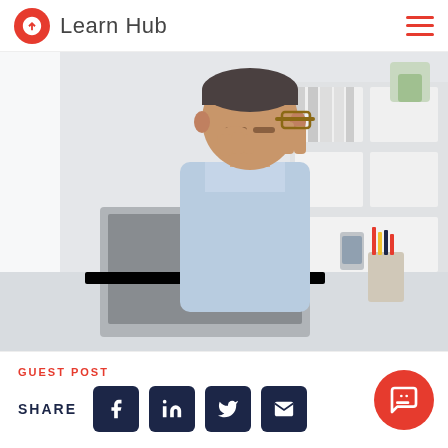Learn Hub
[Figure (photo): Middle-aged man in light blue shirt sitting at a desk with a laptop, rubbing his eyes with one hand while holding glasses in the other. Office setting with white bookshelves in the background.]
GUEST POST
SHARE